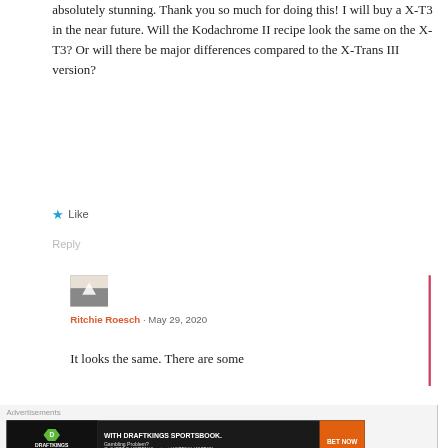absolutely stunning. Thank you so much for doing this! I will buy a X-T3 in the near future. Will the Kodachrome II recipe look the same on the X-T3? Or will there be major differences compared to the X-Trans III version?
★ Like
Reply
[Figure (photo): Small user avatar thumbnail showing a black and white/sepia landscape photo with an upward arrow overlay]
Ritchie Roesch · May 29, 2020
It looks the same. There are some
Advertisements
[Figure (other): DraftKings Sportsbook advertisement banner with green logo on dark background, text: WITH DRAFTKINGS SPORTSBOOK. Gambling Problem? Call (877-8-HOPENY) or text HOPENY (467369). BET NOW button in orange.]